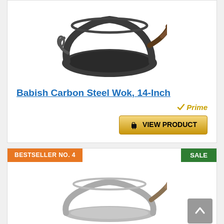[Figure (photo): Babish Carbon Steel Wok with wooden handle, dark gray/black finish, viewed from above-side angle]
Babish Carbon Steel Wok, 14-Inch
[Figure (logo): Amazon Prime badge - checkmark with 'Prime' text in orange/gold]
[Figure (other): VIEW PRODUCT button with shopping cart icon, gold/yellow gradient button]
BESTSELLER NO. 4
SALE
[Figure (photo): Silver/stainless steel wok with wooden handle, flat bottom, viewed from side angle]